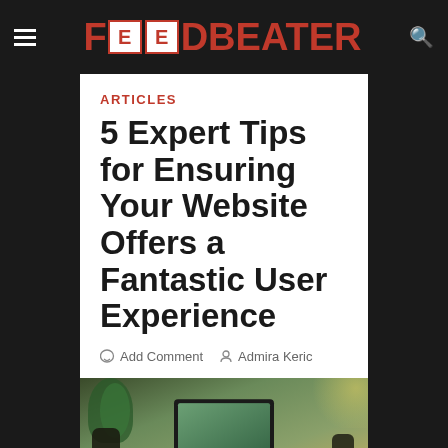FEEDBEATER
ARTICLES
5 Expert Tips for Ensuring Your Website Offers a Fantastic User Experience
Add Comment  Admira Keric
[Figure (photo): A laptop on a desk with speakers and plants in the background]